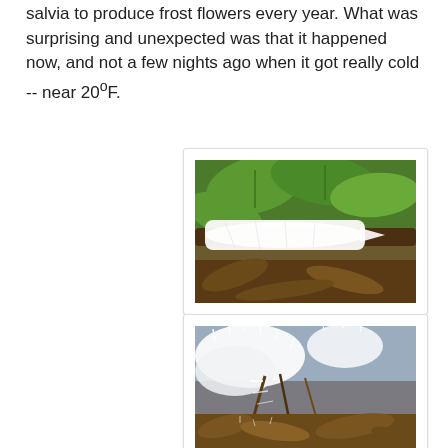salvia to produce frost flowers every year. What was surprising and unexpected was that it happened now, and not a few nights ago when it got really cold -- near 20°F.
[Figure (photo): Close-up photo of a white ribbon of ice (frost flower) wrapped around a plant stem, with green leaves in the background.]
[Figure (photo): Close-up photo of frost flowers on plant stems and leaves on the ground, showing delicate white crystalline ice formations.]